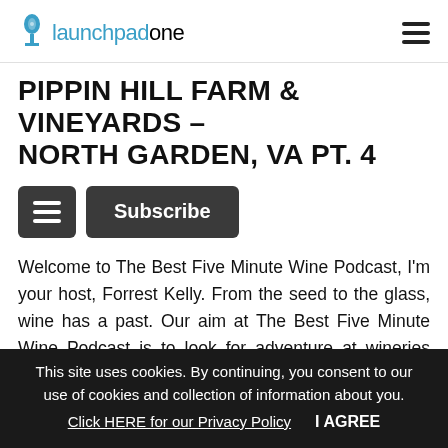launchpadone
PIPPIN HILL FARM & VINEYARDS – NORTH GARDEN, VA PT. 4
Welcome to The Best Five Minute Wine Podcast, I'm your host, Forrest Kelly. From the seed to the glass, wine has a past. Our aim at The Best Five Minute Wine Podcast is to look for adventure at wineries around the globe. After all, grape minds think alike. Let's start the adventure. Our featured winery is: OK, in this episode, and I'm just going to give you some random questions, Dean. I can imagine
This site uses cookies. By continuing, you consent to our use of cookies and collection of information about you. Click HERE for our Privacy Policy    I AGREE